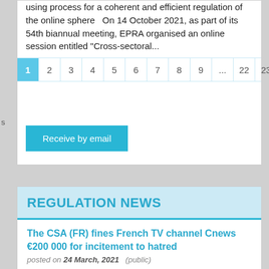using process for a coherent and efficient regulation of the online sphere  On 14 October 2021, as part of its 54th biannual meeting, EPRA organised an online session entitled "Cross-sectoral...
1 2 3 4 5 6 7 8 9 ... 22 23
Receive by email
REGULATION NEWS
The CSA (FR) fines French TV channel Cnews €200 000 for incitement to hatred
posted on 24 March, 2021  (public)
A heavy penalty by the CSA to remind that hate speech and abuses of freedom of expression will not